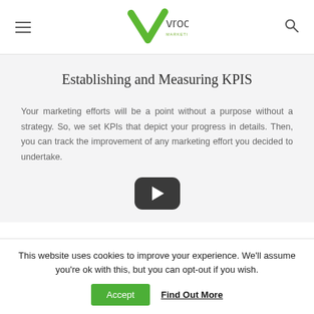vrootok MARKETING & CONSULTING
Establishing and Measuring KPIS
Your marketing efforts will be a point without a purpose without a strategy. So, we set KPIs that depict your progress in details. Then, you can track the improvement of any marketing effort you decided to undertake.
[Figure (other): Video play button (dark rounded rectangle with white triangle)]
This website uses cookies to improve your experience. We'll assume you're ok with this, but you can opt-out if you wish.